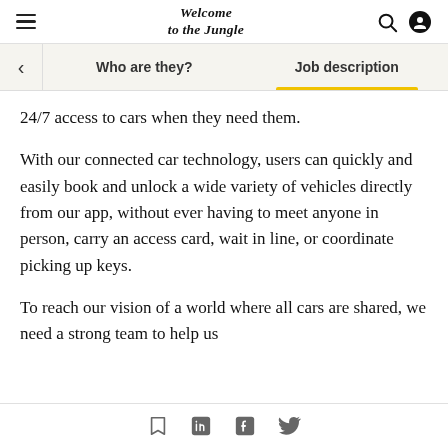Welcome to the Jungle
Who are they? | Job description
24/7 access to cars when they need them.
With our connected car technology, users can quickly and easily book and unlock a wide variety of vehicles directly from our app, without ever having to meet anyone in person, carry an access card, wait in line, or coordinate picking up keys.
To reach our vision of a world where all cars are shared, we need a strong team to help us
Share icons: bookmark, LinkedIn, Facebook, Twitter